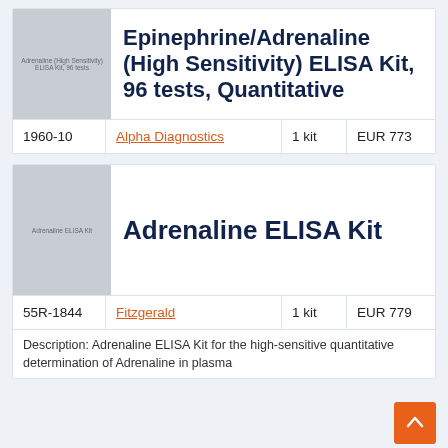[Figure (photo): Product image placeholder for Epinephrine/Adrenaline High Sensitivity ELISA Kit, 96 tests]
Epinephrine/Adrenaline (High Sensitivity) ELISA Kit, 96 tests, Quantitative
| Catalog | Supplier | Qty | Price |
| --- | --- | --- | --- |
| 1960-10 | Alpha Diagnostics | 1 kit | EUR 773 |
[Figure (photo): Product image placeholder for Adrenaline ELISA Kit]
Adrenaline ELISA Kit
| Catalog | Supplier | Qty | Price |
| --- | --- | --- | --- |
| 55R-1844 | Fitzgerald | 1 kit | EUR 779 |
Description: Adrenaline ELISA Kit for the high-sensitive quantitative determination of Adrenaline in plasma